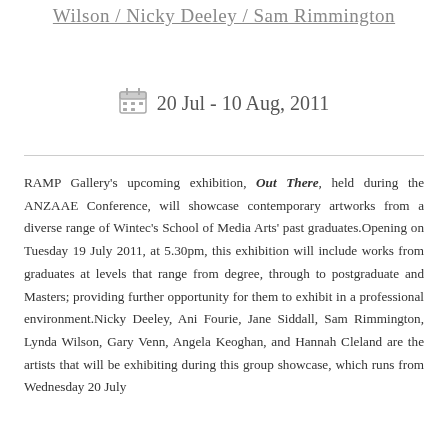Wilson / Nicky Deeley / Sam Rimmington
20 Jul - 10 Aug, 2011
RAMP Gallery's upcoming exhibition, Out There, held during the ANZAAE Conference, will showcase contemporary artworks from a diverse range of Wintec's School of Media Arts' past graduates.Opening on Tuesday 19 July 2011, at 5.30pm, this exhibition will include works from graduates at levels that range from degree, through to postgraduate and Masters; providing further opportunity for them to exhibit in a professional environment.Nicky Deeley, Ani Fourie, Jane Siddall, Sam Rimmington, Lynda Wilson, Gary Venn, Angela Keoghan, and Hannah Cleland are the artists that will be exhibiting during this group showcase, which runs from Wednesday 20 July